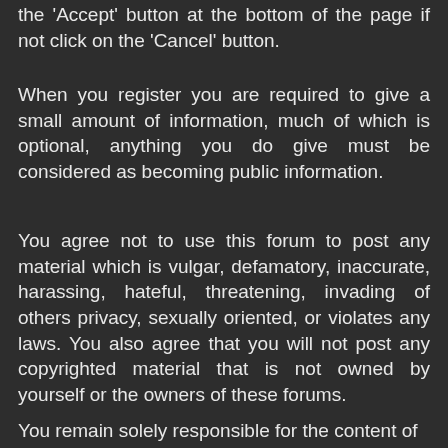the 'Accept' button at the bottom of the page if not click on the 'Cancel' button.
When you register you are required to give a small amount of information, much of which is optional, anything you do give must be considered as becoming public information.
You agree not to use this forum to post any material which is vulgar, defamatory, inaccurate, harassing, hateful, threatening, invading of others privacy, sexually oriented, or violates any laws. You also agree that you will not post any copyrighted material that is not owned by yourself or the owners of these forums.
You remain solely responsible for the content of